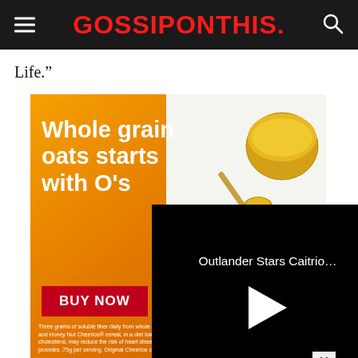GOSSIPONTHIS.
Life.”
[Figure (screenshot): Advertisement for Cheerios cereal showing 'Whole grain oats starts with O's' with honey imagery and a BUY NOW button, overlaid with a video player showing 'Outlander Stars Caitrio...' with a play button on a black background. An X close button is visible at bottom right.]